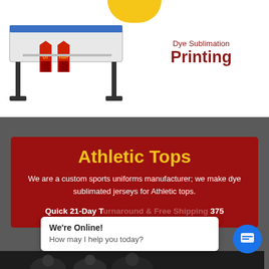[Figure (photo): Yellow half-circle logo at top center of white section]
[Figure (photo): Large format dye sublimation printer with red sports jerseys/tops printed, shown on stand]
Dye Sublimation
Printing
Athletic Tops
We are a custom sports uniforms manufacturer; we make dye sublimated jerseys for Athletic tops.
Quick 21-Day T... ...375
We're Online!
How may I help you today?
[Figure (photo): Bottom strip showing people wearing athletic/sports caps, partially visible]